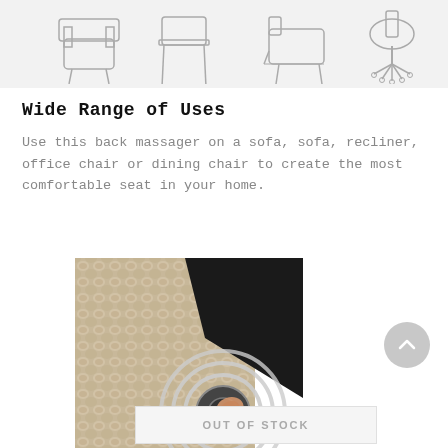[Figure (illustration): Line drawings of different chair types: armchair, side chair, recliner, office chair on wheels]
Wide Range of Uses
Use this back massager on a sofa, sofa, recliner, office chair or dining chair to create the most comfortable seat in your home.
[Figure (photo): Close-up photo of back massager showing beige woven fabric texture and circular massage nodes, with a hand pressing a node]
OUT OF STOCK